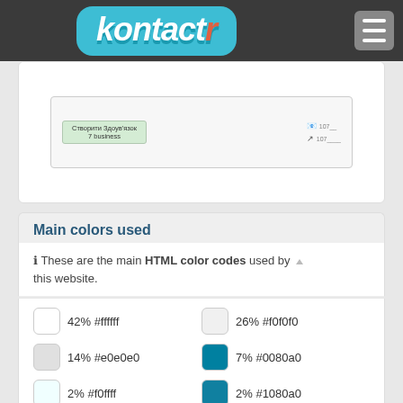kontactr
[Figure (screenshot): Screenshot of kontactr website interface showing a contact form widget]
Main colors used
ℹ These are the main HTML color codes used by this website.
| Swatch | Percentage | Hex Code | Swatch | Percentage | Hex Code |
| --- | --- | --- | --- | --- | --- |
| #ffffff | 42% | #ffffff | #f0f0f0 | 26% | #f0f0f0 |
| #e0e0e0 | 14% | #e0e0e0 | #0080a0 | 7% | #0080a0 |
| #f0ffff | 2% | #f0ffff | #1080a0 | 2% | #1080a0 |
| #b0e0e0 | 1% | #b0e0e0 | #408090 | 1% | #408090 |